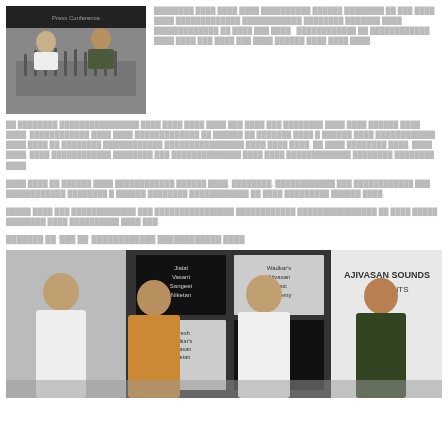[Figure (photo): Press conference photo with two men seated at a table with multiple microphones]
Devanagari text paragraph 1 - top right column
Devanagari text paragraph 2 - full width
Devanagari text paragraph 3 - full width
Devanagari text paragraph 4 - full width
Devanagari heading with quotes - 'XXX XX'
[Figure (photo): Group photo of four men standing in front of Ajivasan Sounds Presents banner and Jialal Vasant Sangeet Niketan / Wadkar's Ajivasan Music Academy backdrop]